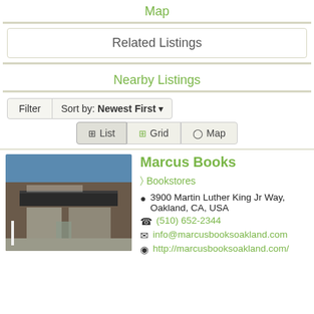Map
Related Listings
Nearby Listings
Filter  Sort by: Newest First ▾
List  Grid  Map
[Figure (photo): Storefront photo of Marcus Books, a brick building with a dark awning, large front windows, and a white post sign on the sidewalk.]
Marcus Books
Bookstores
3900 Martin Luther King Jr Way, Oakland, CA, USA
(510) 652-2344
info@marcusbooksoakland.com
http://marcusbooksoakland.com/